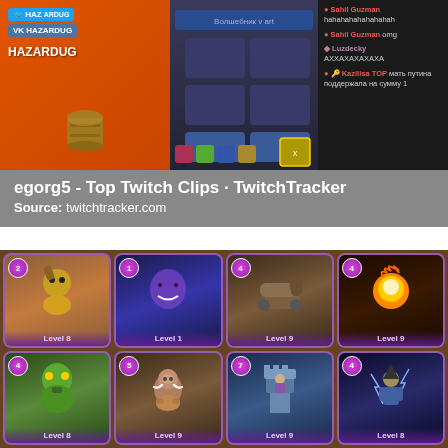[Figure (screenshot): Screenshot of egorg5 Twitch stream showing Clash Royale gameplay with orange branding panel on left showing HAZARDUG social media handles, game UI in center, and chat panel on right with Russian text messages]
egorg5 - Top Twitch Clips · TwitchTracker
Source: twitchtracker.com
[Figure (screenshot): Clash Royale card deck display showing 8 cards in 2 rows of 4. Row 1: Level 8 Goblin (cost 2), Level 1 Ghost (cost 1), Level 9 Cannon (cost 4), Level 9 Fireball (cost 4). Row 2: Level 8 Giant (cost 4), Level 9 Hog Rider (cost 5), Level 9 Tower (cost 7), Level 8 Mage (cost 4).]